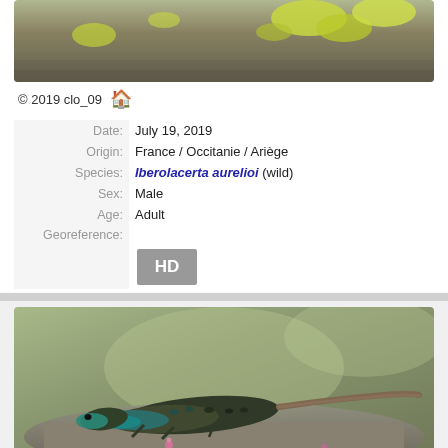[Figure (photo): Top portion of a lizard photograph on rock with yellow-green lichen, cropped at top]
© 2019 clo_09 🏠
| Date: | July 19, 2019 |
| Origin: | France / Occitanie / Ariège |
| Species: | Iberolacerta aurelioi (wild) |
| Sex: | Male |
| Age: | Adult |
| Georeference: |  |
|  | HD |
[Figure (photo): Photograph of a male adult Iberolacerta aurelioi lizard on a rock, showing teal/green and dark patterned coloration]